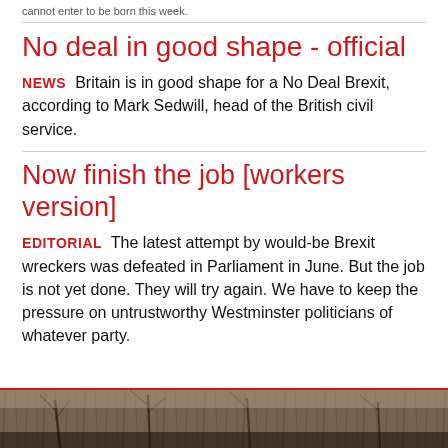cannot enter to be born this week.
No deal in good shape - official
NEWS  Britain is in good shape for a No Deal Brexit, according to Mark Sedwill, head of the British civil service.
Now finish the job [workers version]
EDITORIAL  The latest attempt by would-be Brexit wreckers was defeated in Parliament in June. But the job is not yet done. They will try again. We have to keep the pressure on untrustworthy Westminster politicians of whatever party.
[Figure (photo): Outdoor winter scene showing bare trees with snow or frost, dark toned landscape photograph]